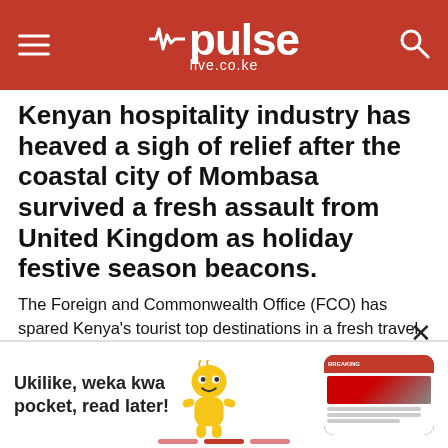pulse live.co.ke
Kenyan hospitality industry has heaved a sigh of relief after the coastal city of Mombasa survived a fresh assault from United Kingdom as holiday festive season beacons.
The Foreign and Commonwealth Office (FCO) has spared Kenya's tourist top destinations in a fresh travel advisory to its citizens even after the November 20th incident where an Italian volunteer was kidnapped, sparking fresh fears of renewed attacks by militant Islamists and foreign travel sanctions.
FCO said in its advisory issued Tuesday that the situation did not ... ional parks...
[Figure (screenshot): Advertisement banner overlay with yellow mascot character, text 'Ukilike, weka kwa pocket, read later!' and a phone mockup showing a news app. Includes a close (X) button.]